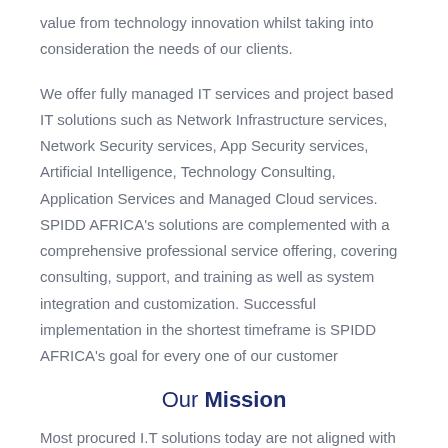value from technology innovation whilst taking into consideration the needs of our clients.
We offer fully managed IT services and project based IT solutions such as Network Infrastructure services, Network Security services, App Security services, Artificial Intelligence, Technology Consulting, Application Services and Managed Cloud services. SPIDD AFRICA's solutions are complemented with a comprehensive professional service offering, covering consulting, support, and training as well as system integration and customization. Successful implementation in the shortest timeframe is SPIDD AFRICA's goal for every one of our customer
Our Mission
Most procured I.T solutions today are not aligned with the business objectives which stagnate growth. Spidd Africa